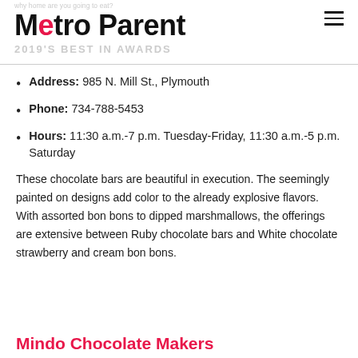Metro Parent
Address: 985 N. Mill St., Plymouth
Phone: 734-788-5453
Hours: 11:30 a.m.-7 p.m. Tuesday-Friday, 11:30 a.m.-5 p.m. Saturday
These chocolate bars are beautiful in execution. The seemingly painted on designs add color to the already explosive flavors. With assorted bon bons to dipped marshmallows, the offerings are extensive between Ruby chocolate bars and White chocolate strawberry and cream bon bons.
Mindo Chocolate Makers